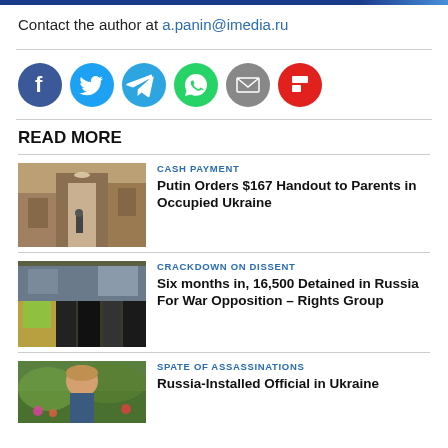Contact the author at a.panin@imedia.ru
[Figure (infographic): Social sharing icons row: Facebook (dark blue), Twitter (light blue), Telegram (blue), WhatsApp (green), Email (grey), Flipboard (red)]
READ MORE
[Figure (photo): Interior hallway of a building, dimly lit]
CASH PAYMENT
Putin Orders $167 Handout to Parents in Occupied Ukraine
[Figure (photo): Protest scene with people in hi-vis vests and riot police]
CRACKDOWN ON DISSENT
Six months in, 16,500 Detained in Russia For War Opposition – Rights Group
[Figure (photo): Person outdoors, partial view]
SPATE OF ASSASSINATIONS
Russia-Installed Official in Ukraine